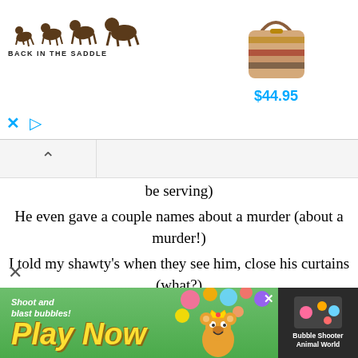[Figure (illustration): Back in the Saddle advertisement banner with horse logo on left and a decorative handbag priced at $44.95 on the right]
be serving)
He even gave a couple names about a murder (about a murder!)
I told my shawty's when they see him, close his curtains (what?)
Do that boy dirty! (boom! boom!)
It's seven thirty (uh, yeah)
I heard he stay with his OG, up on that corner (yeah, yeah)
I could've been got that boy killed, but I ain't wanna (damn, damn)
But he's been talking like he slick, so now I'm gonna (skrrt, skrrt)
[Figure (illustration): Bubble shooter mobile game advertisement with green background, 'Shoot and blast bubbles!', 'Play Now' text, cartoon bear character, and 'Bubble Shooter Animal World' label]